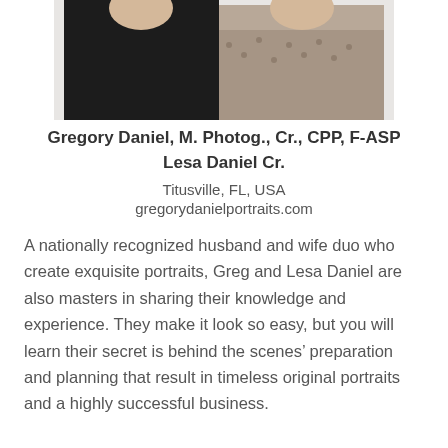[Figure (photo): Portrait photo of Gregory Daniel and Lesa Daniel, a man and woman posed together, the man in black on the left and the woman in a patterned top on the right with arms crossed.]
Gregory Daniel, M. Photog., Cr., CPP, F-ASP
Lesa Daniel Cr.
Titusville, FL, USA
gregorydanielportraits.com
A nationally recognized husband and wife duo who create exquisite portraits, Greg and Lesa Daniel are also masters in sharing their knowledge and experience. They make it look so easy, but you will learn their secret is behind the scenes’ preparation and planning that result in timeless original portraits and a highly successful business.